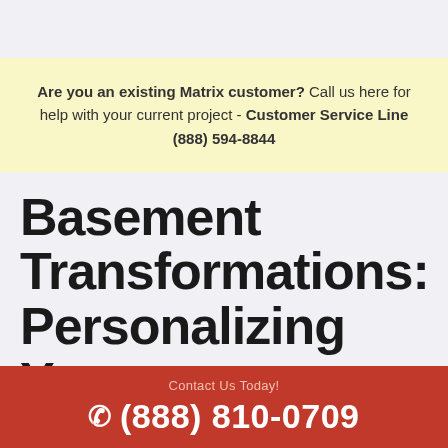Are you an existing Matrix customer? Call us here for help with your current project - Customer Service Line (888) 594-8844
Basement Transformations: Personalizing Your Basement Home Th...
Contact Us Today! (888) 810-0709